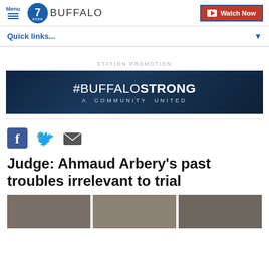Menu | 7 WKBW BUFFALO | Watch Now
Quick links...
STATION PROMOTION
[Figure (illustration): #BUFFALO STRONG - A COMMUNITY UNITED promotional banner with dark blue background and crowd imagery]
[Figure (infographic): Social share icons: Facebook, Twitter, Email]
Judge: Ahmaud Arbery's past troubles irrelevant to trial
[Figure (photo): Three thumbnail photos at bottom of page]